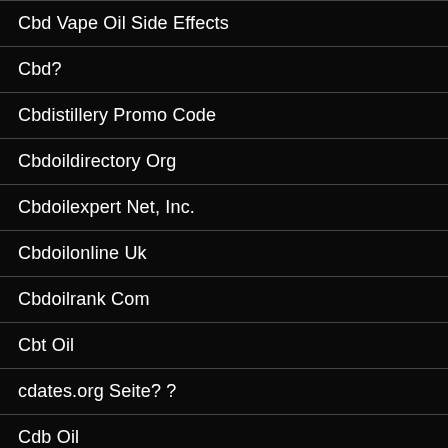Cbd Vape Oil Side Effects
Cbd?
Cbdistillery Promo Code
Cbdoildirectory Org
Cbdoilexpert Net, Inc.
Cbdoilonline Uk
Cbdoilrank Com
Cbt Oil
cdates.org Seite? ?
Cdb Oil
Cdc Oil
Cdv Oil